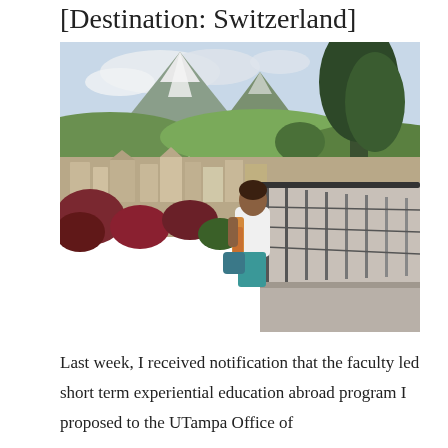[Destination: Switzerland]
[Figure (photo): A woman standing on a pedestrian bridge/walkway with a metal railing, overlooking the city of Lucerne, Switzerland, with mountains in the background including snow-capped peaks, colorful trees and rooftops visible below, under a partly cloudy sky.]
Last week, I received notification that the faculty led short term experiential education abroad program I proposed to the UTampa Office of